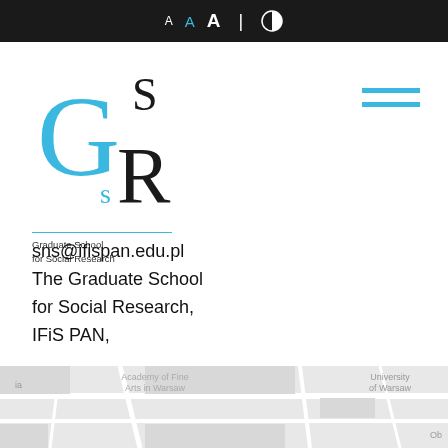A A A | (contrast icon)
[Figure (logo): Graduate School for Social Research (GSSR) logo with large cyan G, superscript S, subscript R in black, text: Graduate School for Social Research]
sns@ifispan.edu.pl
The Graduate School for Social Research, IFiS PAN,

Staszic Palace,
Nowy Świat 72,
00-330 Warsaw,
Poland
[Figure (map): Map showing location near Academy of Fine Arts in Warsaw, University of Warsaw, and Ob...]